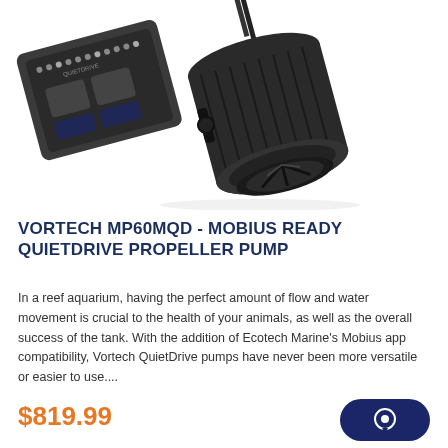[Figure (photo): Product photo of Vortech MP60MQD QuietDrive propeller pump — a black cylindrical aquarium pump with a magnetic drive unit showing a controller pad with LED dots and buttons, and a large impeller housing]
VORTECH MP60MQD - MOBIUS READY QUIETDRIVE PROPELLER PUMP
In a reef aquarium, having the perfect amount of flow and water movement is crucial to the health of your animals, as well as the overall success of the tank. With the addition of Ecotech Marine's Mobius app compatibility, Vortech QuietDrive pumps have never been more versatile or easier to use....
$819.99